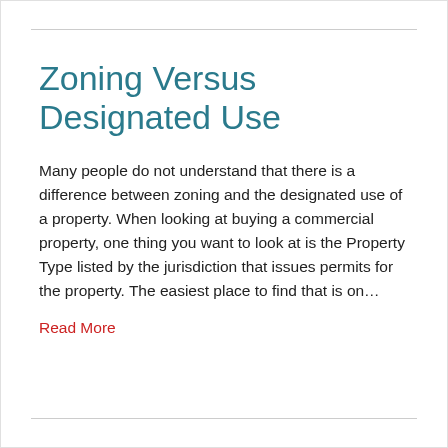Zoning Versus Designated Use
Many people do not understand that there is a difference between zoning and the designated use of a property. When looking at buying a commercial property, one thing you want to look at is the Property Type listed by the jurisdiction that issues permits for the property. The easiest place to find that is on…
Read More